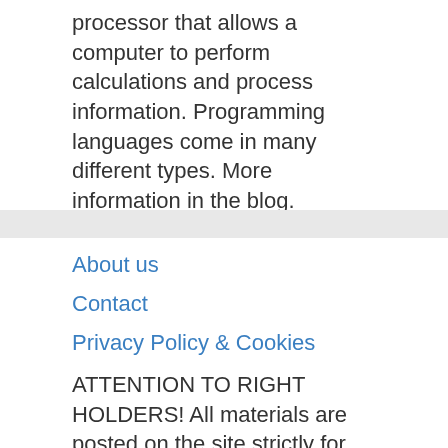processor that allows a computer to perform calculations and process information. Programming languages come in many different types. More information in the blog.
About us
Contact
Privacy Policy & Cookies
ATTENTION TO RIGHT HOLDERS! All materials are posted on the site strictly for informational and educational purposes! If you believe that the posting of any material infringes your copyright, be sure to contact us through the contact form and your